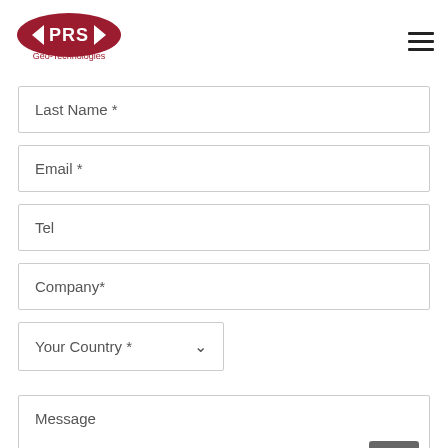[Figure (logo): PRS Geo-Technologies logo — red oval with PRS text and 'Geo-Technologies' below]
Last Name *
Email *
Tel
Company*
Your Country *
Message
CONTACT YOUR PERSONAL ADVISOR